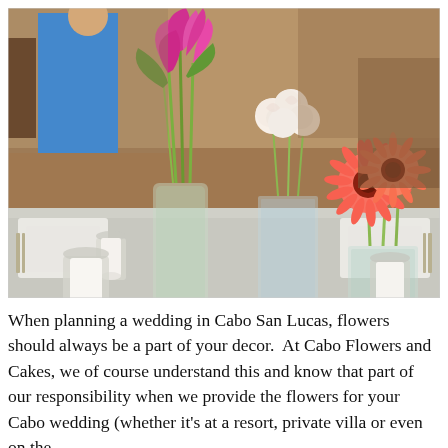[Figure (photo): A wedding table centerpiece featuring three floral arrangements in glass vases on a silver/gray tablecloth: tall pink calla lilies on the left, cream/white roses in the center, and coral/pink gerbera daisies on the right. Small candle holders with white candles are also on the table. In the background, a person in a blue shirt is visible along with dark wood furniture in a restaurant or event venue.]
When planning a wedding in Cabo San Lucas, flowers should always be a part of your decor.  At Cabo Flowers and Cakes, we of course understand this and know that part of our responsibility when we provide the flowers for your Cabo wedding (whether it's at a resort, private villa or even on the